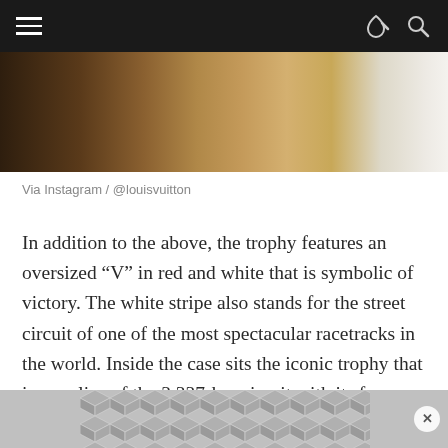[Figure (photo): Partial photo showing wooden surfaces in brown and tan tones, cropped at the top of the page]
Via Instagram / @louisvuitton
In addition to the above, the trophy features an oversized “V” in red and white that is symbolic of victory. The white stripe also stands for the street circuit of one of the most spectacular racetracks in the world. Inside the case sits the iconic trophy that is a replica of the 3,337-km circuit with its famous 19 bends.
[Figure (other): Advertisement banner with hexagonal cube pattern in grey tones and an X close button]